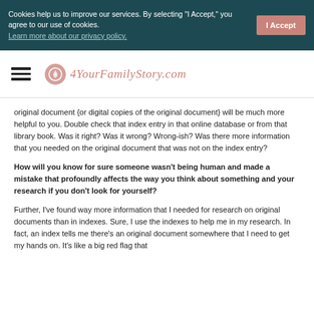Cookies help us to improve our services. By selecting "I Accept," you agree to our use of cookies. Learn more about our privacy policy.
[Figure (logo): 4YourFamilyStory.com logo with hamburger menu icon]
original document {or digital copies of the original document} will be much more helpful to you. Double check that index entry in that online database or from that library book. Was it right? Was it wrong? Wrong-ish? Was there more information that you needed on the original document that was not on the index entry?
How will you know for sure someone wasn't being human and made a mistake that profoundly affects the way you think about something and your research if you don't look for yourself?
Further, I've found way more information that I needed for research on original documents than in indexes. Sure, I use the indexes to help me in my research. In fact, an index tells me there's an original document somewhere that I need to get my hands on. It's like a big red flag that